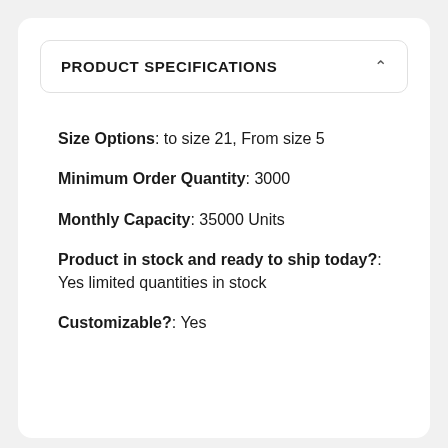PRODUCT SPECIFICATIONS
Size Options: to size 21, From size 5
Minimum Order Quantity: 3000
Monthly Capacity: 35000 Units
Product in stock and ready to ship today?: Yes limited quantities in stock
Customizable?: Yes